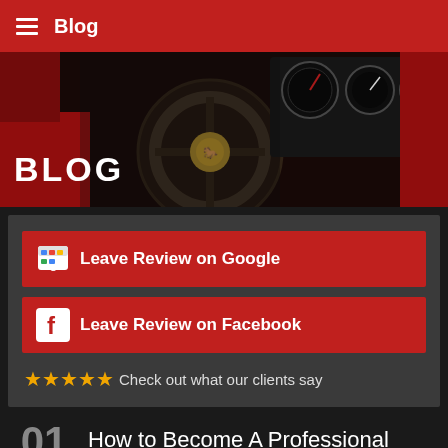Blog
[Figure (photo): Close-up of a classic red Ferrari dashboard and steering wheel with instruments]
BLOG
Leave Review on Google
Leave Review on Facebook
★★★★★ Check out what our clients say
01 Oct 2021
How to Become A Professional Auto Appraiser